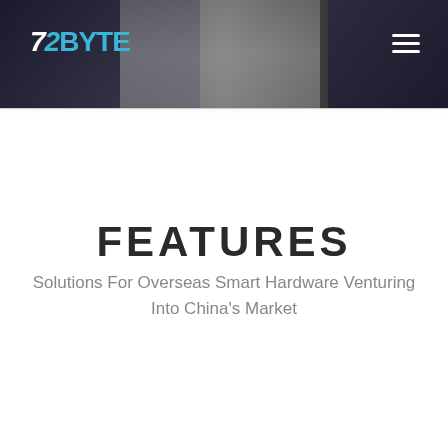[Figure (logo): 72BYTE logo with stylized 7 and 2 in italic, BYTE in teal/blue, white text on dark header background with hamburger menu icon on the right]
FEATURES
Solutions For Overseas Smart Hardware Venturing Into China’s Market